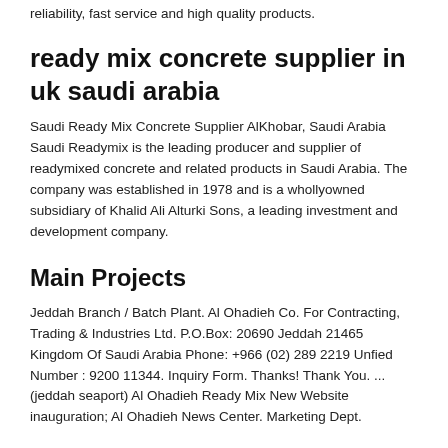reliability, fast service and high quality products.
ready mix concrete supplier in uk saudi arabia
Saudi Ready Mix Concrete Supplier AlKhobar, Saudi Arabia Saudi Readymix is the leading producer and supplier of readymixed concrete and related products in Saudi Arabia. The company was established in 1978 and is a whollyowned subsidiary of Khalid Ali Alturki Sons, a leading investment and development company.
Main Projects
Jeddah Branch / Batch Plant. Al Ohadieh Co. For Contracting, Trading & Industries Ltd. P.O.Box: 20690 Jeddah 21465 Kingdom Of Saudi Arabia Phone: +966 (02) 289 2219 Unfied Number : 9200 11344. Inquiry Form. Thanks! Thank You. ... (jeddah seaport) Al Ohadieh Ready Mix New Website inauguration; Al Ohadieh News Center. Marketing Dept.
Ready Mix Concrete Plant Jobs 2020 in Pakistan